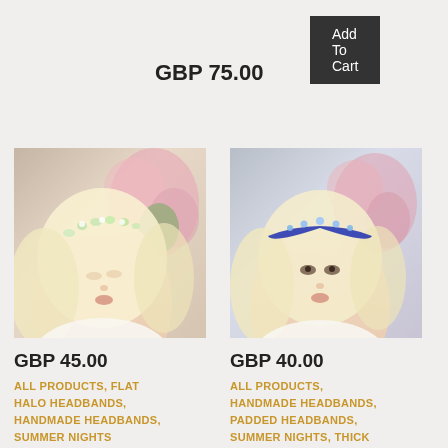[Figure (other): Dark grey Add To Cart button]
GBP 75.00
[Figure (photo): Blonde woman wearing a floral flat halo headband, pink flowers in background]
[Figure (photo): Blonde woman wearing a blue padded jewelled headband, pink flowers in background]
GBP 45.00
GBP 40.00
ALL PRODUCTS, FLAT HALO HEADBANDS, HANDMADE HEADBANDS, SUMMER NIGHTS
ALL PRODUCTS, HANDMADE HEADBANDS, PADDED HEADBANDS, SUMMER NIGHTS, THICK PADDED HEADBANDS